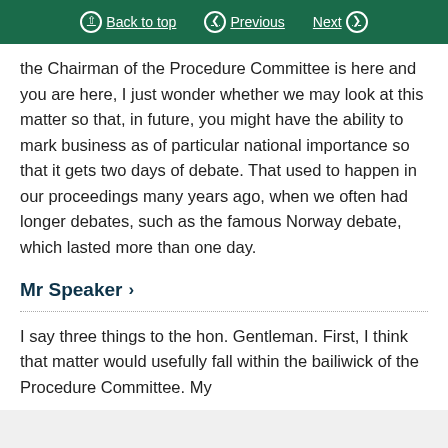Back to top | Previous | Next
the Chairman of the Procedure Committee is here and you are here, I just wonder whether we may look at this matter so that, in future, you might have the ability to mark business as of particular national importance so that it gets two days of debate. That used to happen in our proceedings many years ago, when we often had longer debates, such as the famous Norway debate, which lasted more than one day.
Mr Speaker
I say three things to the hon. Gentleman. First, I think that matter would usefully fall within the bailiwick of the Procedure Committee. My